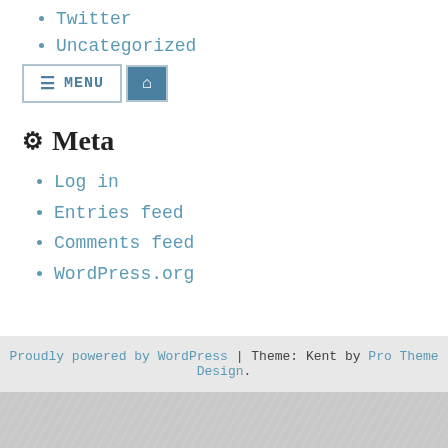Twitter
Uncategorized
Meta
Log in
Entries feed
Comments feed
WordPress.org
Proudly powered by WordPress | Theme: Kent by Pro Theme Design.